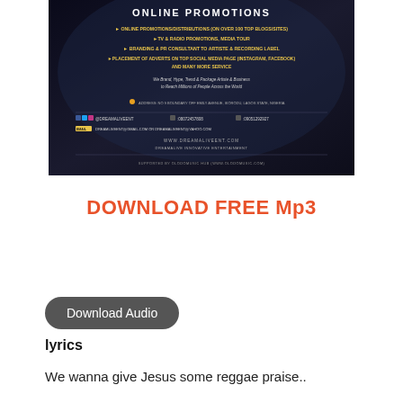[Figure (infographic): Dark promotional banner for Dreamalive Innovative Entertainment online promotions service. Text includes: ONLINE PROMOTIONS, ONLINE PROMOTIONS/DISTRIBUTIONS (ON OVER 100 TOP BLOGS/SITES), TV & RADIO PROMOTIONS, MEDIA TOUR, BRANDING & PR CONSULTANT TO ARTISTE & RECORDING LABEL, PLACEMENT OF ADVERTS ON TOP SOCIAL MEDIA PAGE (INSTAGRAM, FACEBOOK) AND MANY MORE SERVICE. We Brand, Hype, Trend & Package Artiste & Business to Reach Millions of People Across the World. ADDRESS: NO 9 BOUNDARY OFF EMILY AVENUE, IKORODU, LAGOS STATE, NIGERIA. @DREAMALIVEENT, 08072457808, 09051292927. EMAIL DREAMLIVEENT@GMAIL.COM OR DREAMALIVEENT@YAHOO.COM. WWW.DREAMALIVEENT.COM. DREAMALIVE INNOVATIVE ENTERTAINMENT. SUPPORTED BY OLODOMUSIC HUB (WWW.OLODOMUSIC.COM)]
DOWNLOAD FREE Mp3
Download Audio
lyrics
We wanna give Jesus some reggae praise..